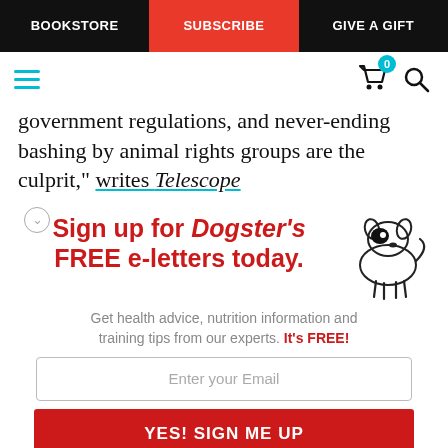BOOKSTORE | SUBSCRIBE | GIVE A GIFT
government regulations, and never-ending bashing by animal rights groups are the culprit," writes Telescope
[Figure (infographic): Sign up for Dogster's FREE e-letters today. Get health advice, nutrition information and training tips from our experts. It's FREE! Email input field and YES! SIGN ME UP button. Cartoon dog illustration.]